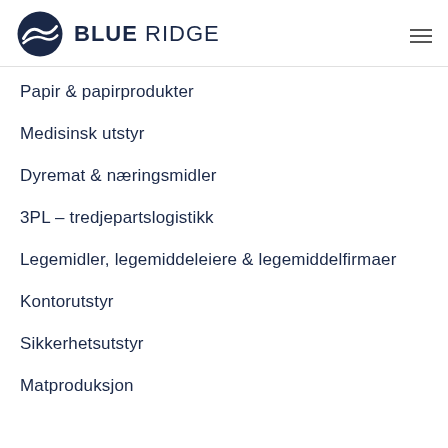BLUE RIDGE
Papir & papirprodukter
Medisinsk utstyr
Dyremat & næringsmidler
3PL – tredjepartslogistikk
Legemidler, legemiddeleiere & legemiddelfirmaer
Kontorutstyr
Sikkerhetsutstyr
Matproduksjon